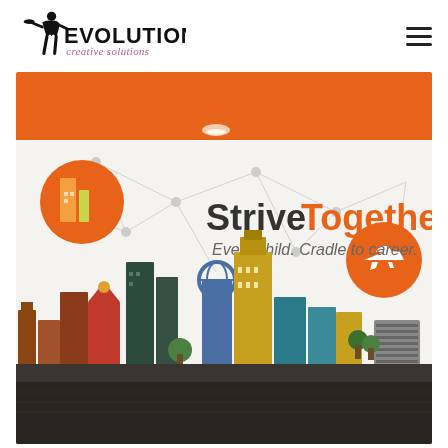Evolution Creative Solutions — navigation header with logo and hamburger menu
[Figure (photo): Interior wall mural of a city skyline with the StriveTogether branding — 'Strive Together / Every child. Cradle to career.' — printed on a large white wall. The mural features colorful illustrated buildings, trees, network connection lines and circular icons including a city icon and an airplane icon. The ceiling and upper wall are orange. The floor in the foreground is dark wood.]